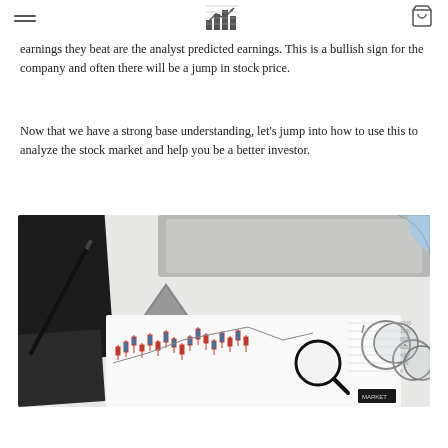[hamburger menu] [stock analysis logo] [cart icon]
earnings they beat are the analyst predicted earnings.  This is a bullish sign for the company and often there will be a jump in stock price.
Now that we have a strong base understanding, let’s jump into how to use this to analyze the stock market and help you be a better investor.
[Figure (photo): Overhead flat-lay photo showing a desk with a black notebook, a pen, a laptop, printed candlestick stock charts, a magnifying glass, glasses, and a partial pie chart on white background.]